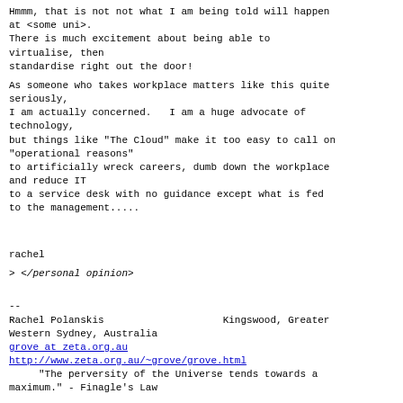Hmmm, that is not not what I am being told will happen
at <some uni>.
There is much excitement about being able to
virtualise, then
standardise right out the door!
As someone who takes workplace matters like this quite
seriously,
I am actually concerned.   I am a huge advocate of
technology,
but things like "The Cloud" make it too easy to call on
"operational reasons"
to artificially wreck careers, dumb down the workplace
and reduce IT
to a service desk with no guidance except what is fed
to the management.....
rachel
> </personal opinion>
--
Rachel Polanskis                    Kingswood, Greater
Western Sydney, Australia
grove at zeta.org.au
http://www.zeta.org.au/~grove/grove.html
     "The perversity of the Universe tends towards a
maximum." - Finagle's Law